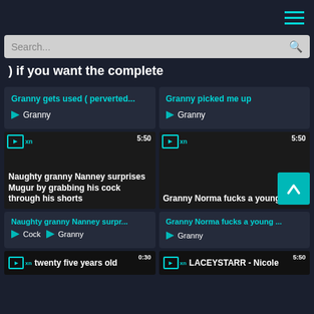Navigation header with hamburger menu
Search...
) if you want the complete
Granny gets used ( perverted...
Granny picked me up
[Figure (screenshot): Video thumbnail - Naughty granny Nanney surprises Mugur by grabbing his cock through his shorts, duration 5:50]
[Figure (screenshot): Video thumbnail - Granny Norma fucks a young guy, duration 5:50]
Naughty granny Nanney surpr...
Granny Norma fucks a young ...
twenty five years old 0:30
LACEYSTARR - Nicole 5:50